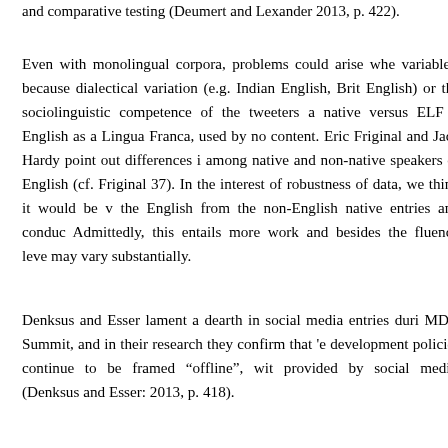and comparative testing (Deumert and Lexander 2013, p. 422).
Even with monolingual corpora, problems could arise when dealing with variables, because dialectical variation (e.g. Indian English, British English) or the sociolinguistic competence of the tweeters as native versus ELF –English as a Lingua Franca, used by non-native content. Eric Friginal and Jack Hardy point out differences in among native and non-native speakers of English (cf. Friginal 37). In the interest of robustness of data, we think it would be worth separating the English from the non-English native entries and conducting analyses separately. Admittedly, this entails more work and besides the fluency level may vary substantially.
Denksus and Esser lament a dearth in social media entries during the MDG Summit, and in their research they confirm that 'e-development policies continue to be framed "offline", with provided by social media' (Denksus and Esser: 2013, p. 418).